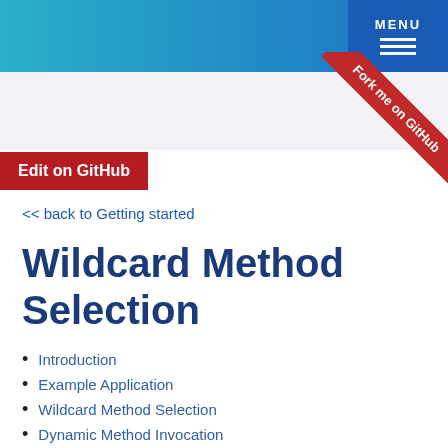MENU
[Figure (other): Fork me on GitHub ribbon in red diagonal banner at top right corner]
Edit on GitHub
<< back to Getting started
Wildcard Method Selection
Introduction
Example Application
Wildcard Method Selection
Dynamic Method Invocation
Summary